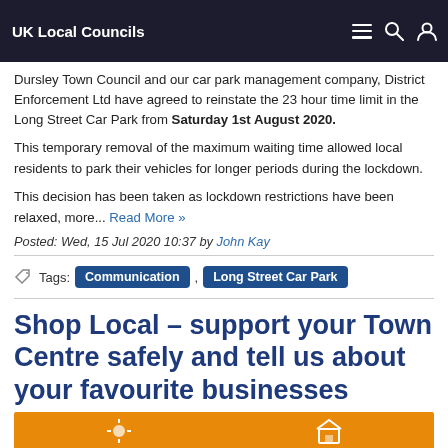UK Local Councils
Dursley Town Council and our car park management company, District Enforcement Ltd have agreed to reinstate the 23 hour time limit in the Long Street Car Park from Saturday 1st August 2020.
This temporary removal of the maximum waiting time allowed local residents to park their vehicles for longer periods during the lockdown.
This decision has been taken as lockdown restrictions have been relaxed, more... Read More »
Posted: Wed, 15 Jul 2020 10:37 by John Kay
Tags: Communication , Long Street Car Park
Shop Local – support your Town Centre safely and tell us about your favourite businesses
[Figure (illustration): Orange banner strip at the bottom of the page]